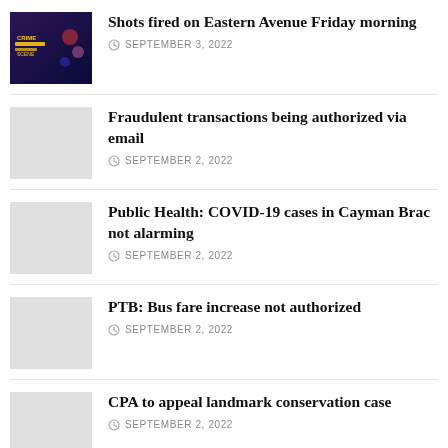Shots fired on Eastern Avenue Friday morning — SEPTEMBER 3, 2022
Fraudulent transactions being authorized via email — SEPTEMBER 2, 2022
Public Health: COVID-19 cases in Cayman Brac not alarming — SEPTEMBER 2, 2022
PTB: Bus fare increase not authorized — SEPTEMBER 2, 2022
CPA to appeal landmark conservation case — SEPTEMBER 2, 2022